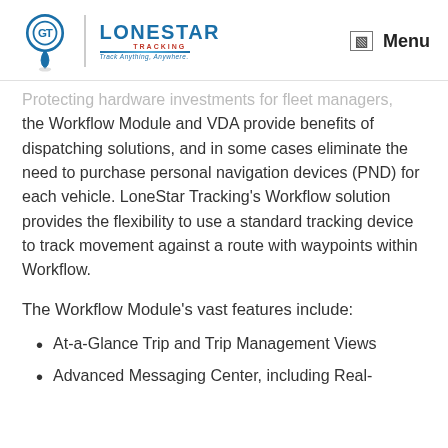LONESTAR TRACKING — Track Anything, Anywhere. | Menu
Protecting hardware investments for fleet managers, the Workflow Module and VDA provide benefits of dispatching solutions, and in some cases eliminate the need to purchase personal navigation devices (PND) for each vehicle. LoneStar Tracking's Workflow solution provides the flexibility to use a standard tracking device to track movement against a route with waypoints within Workflow.
The Workflow Module's vast features include:
At-a-Glance Trip and Trip Management Views
Advanced Messaging Center, including Real-